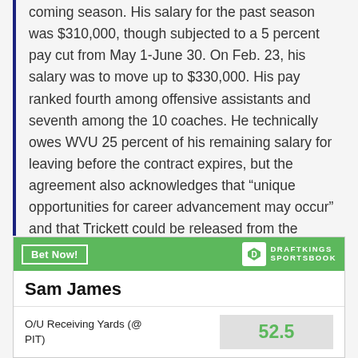coming season. His salary for the past season was $310,000, though subjected to a 5 percent pay cut from May 1-June 30. On Feb. 23, his salary was to move up to $330,000. His pay ranked fourth among offensive assistants and seventh among the 10 coaches. He technically owes WVU 25 percent of his remaining salary for leaving before the contract expires, but the agreement also acknowledges that “unique opportunities for career advancement may occur” and that Trickett could be released from the contract.
[Figure (infographic): DraftKings Sportsbook betting widget showing Sam James O/U Receiving Yards (@PIT) with a value of 52.5]